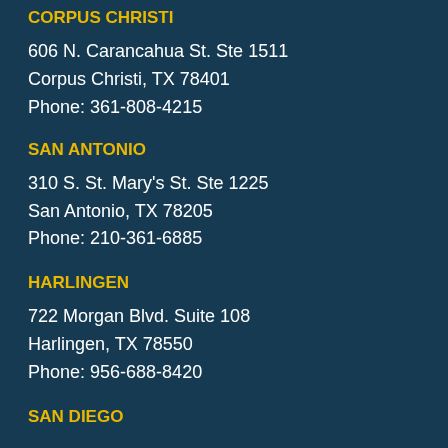CORPUS CHRISTI
606 N. Carancahua St. Ste 1511
Corpus Christi, TX 78401
Phone: 361-808-4215
SAN ANTONIO
310 S. St. Mary's St. Ste 1225
San Antonio, TX 78205
Phone: 210-361-6885
HARLINGEN
722 Morgan Blvd. Suite 108
Harlingen, TX 78550
Phone: 956-688-8420
SAN DIEGO